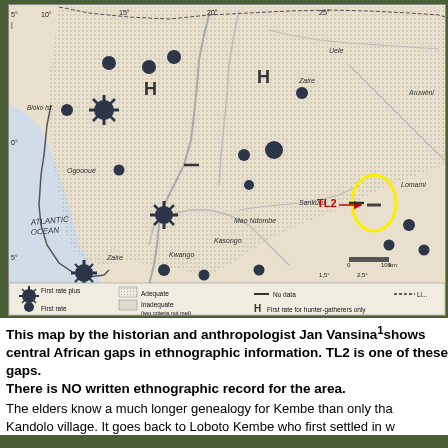[Figure (map): Map by historian and anthropologist Jan Vansina showing central African gaps in ethnographic information. The map displays equatorial Africa with latitude/longitude markers, Atlantic Ocean label, country/river labels (Zaire, Congo, Sangha, Uele, Aruwimi, Ogoooué, Sankuru, Kasongo, Kwango, Mao Ndombe), symbols for ethnographic data quality (First rate plus, First rate, Adequate, Inadequate, No data, First rate for hunter-gatherers only), a scale bar (0-100 km), and a yellow oval highlighting the TL2 area with a red label and arrow.]
This map by the historian and anthropologist Jan Vansina1 shows central African gaps in ethnographic information. TL2 is one of these gaps. There is NO written ethnographic record for the area.
The elders know a much longer genealogy for Kembe than only that Kandolo village. It goes back to Loboto Kembe who first settled in w...